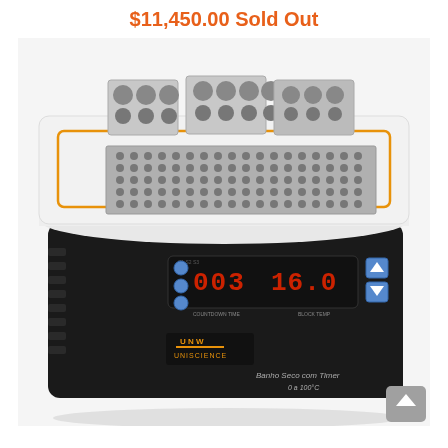$11,450.00 Sold Out
[Figure (photo): Uniscience Banho Seco com Timer 0 a 100°C dry bath incubator with digital display showing 003 and 16.0, featuring multiple aluminum block inserts on top, black and white body with orange accent border, Uniscience logo on front panel.]